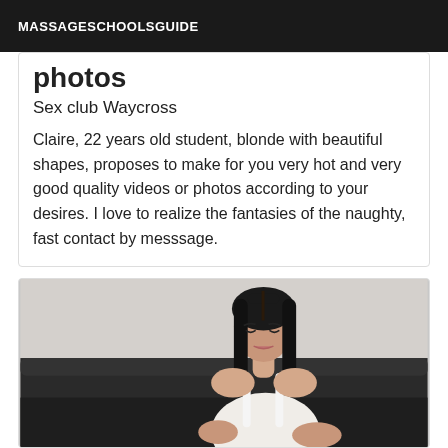MASSAGESCHOOLSGUIDE
photos
Sex club Waycross
Claire, 22 years old student, blonde with beautiful shapes, proposes to make for you very hot and very good quality videos or photos according to your desires. I love to realize the fantasies of the naughty, fast contact by messsage.
[Figure (photo): A dark-haired woman in a white top seated on a dark leather couch, looking downward, photographed against a light grey wall.]